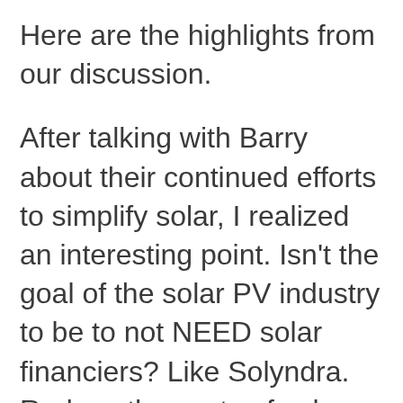Here are the highlights from our discussion.
After talking with Barry about their continued efforts to simplify solar, I realized an interesting point. Isn’t the goal of the solar PV industry to be to not NEED solar financiers? Like Solyndra. Reduce the costs of solar so much that most homeowners will not need financing. Westinghouse’s best